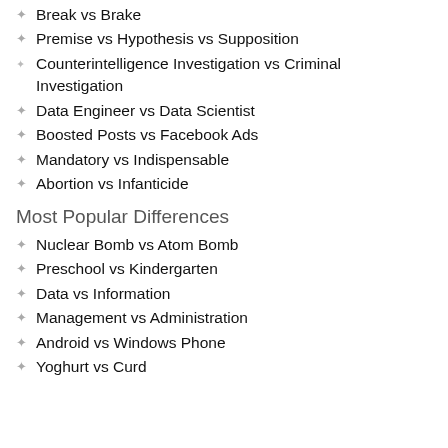Break vs Brake
Premise vs Hypothesis vs Supposition
Counterintelligence Investigation vs Criminal Investigation
Data Engineer vs Data Scientist
Boosted Posts vs Facebook Ads
Mandatory vs Indispensable
Abortion vs Infanticide
Most Popular Differences
Nuclear Bomb vs Atom Bomb
Preschool vs Kindergarten
Data vs Information
Management vs Administration
Android vs Windows Phone
Yoghurt vs Curd